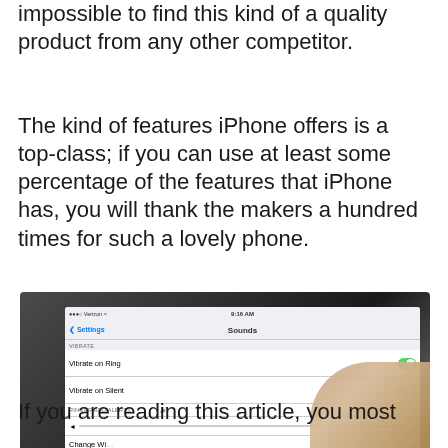impossible to find this kind of a quality product from any other competitor.
The kind of features iPhone offers is a top-class; if you can use at least some percentage of the features that iPhone has, you will thank the makers a hundred times for such a lovely phone.
[Figure (photo): A hand holding an iPhone displaying the Sounds settings screen, showing Vibrate on Ring toggle (on, green) and Vibrate on Silent toggle, with a finger touching the screen.]
If you are reading this article, you most